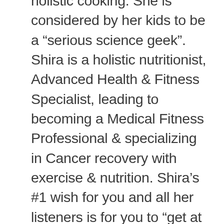holistic cooking. She is considered by her kids to be a “serious science geek”. Shira is a holistic nutritionist, Advanced Health & Fitness Specialist, leading to becoming a Medical Fitness Professional & specializing in Cancer recovery with exercise & nutrition. Shira’s #1 wish for you and all her listeners is for you to “get at least 60 minutes of exercise today & every day.” Shira’s technique is for you to keep focused on that tantalizing reward of reaching that person cowering inside with love, humor, and fun, scientific facts – pure liberation, no sacrifice. This is all coupled with no diet or exercise fads, and topped off with even more laughter. Join Shira & all the brilliant researchers she brings you each week – dedicated to your